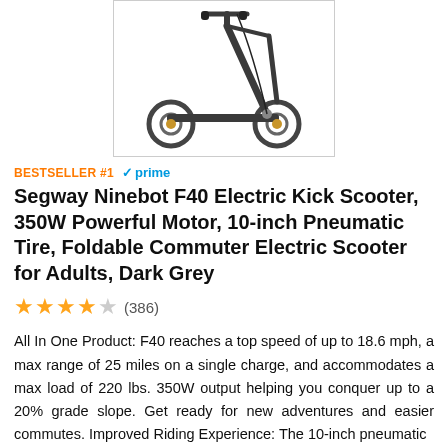[Figure (photo): Electric kick scooter (Segway Ninebot F40) in dark grey, shown in profile view with handlebars folded, against white background, inside a light-grey bordered box]
BESTSELLER #1  ✓prime
Segway Ninebot F40 Electric Kick Scooter, 350W Powerful Motor, 10-inch Pneumatic Tire, Foldable Commuter Electric Scooter for Adults, Dark Grey
★★★½☆ (386)
All In One Product: F40 reaches a top speed of up to 18.6 mph, a max range of 25 miles on a single charge, and accommodates a max load of 220 lbs. 350W output helping you conquer up to a 20% grade slope. Get ready for new adventures and easier commutes. Improved Riding Experience: The 10-inch pneumatic